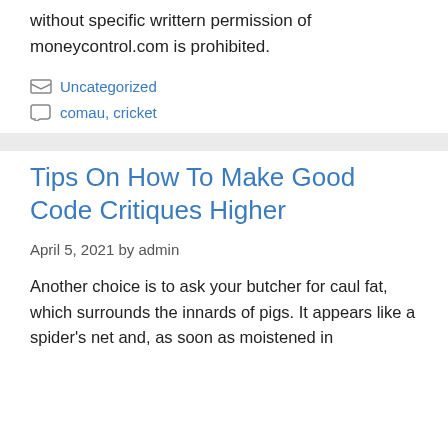without specific writtern permission of moneycontrol.com is prohibited.
Uncategorized
comau, cricket
Tips On How To Make Good Code Critiques Higher
April 5, 2021 by admin
Another choice is to ask your butcher for caul fat, which surrounds the innards of pigs. It appears like a spider's net and, as soon as moistened in